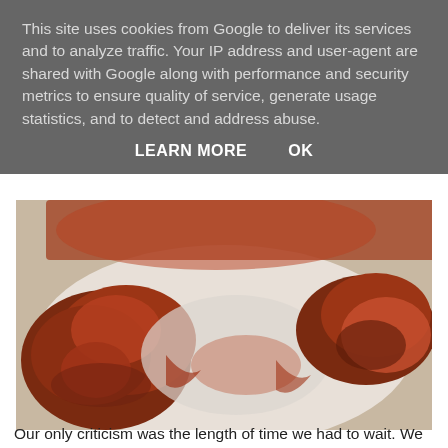This site uses cookies from Google to deliver its services and to analyze traffic. Your IP address and user-agent are shared with Google along with performance and security metrics to ensure quality of service, generate usage statistics, and to detect and address abuse.
LEARN MORE   OK
[Figure (photo): Close-up photo of glazed or sauced cooked meat (likely ribs or chicken) on a white plate, with rich brown sauce visible.]
Our only criticism was the length of time we had to wait. We were on our lunch break from work so only had an hour. We were told that they were busy when we arrived, but there were only two members of staff on to both cook and serve the food. One of our colleagues went later that day after we referred them, and was unable to get served within her lunch period for a take away. However, I think some of this was